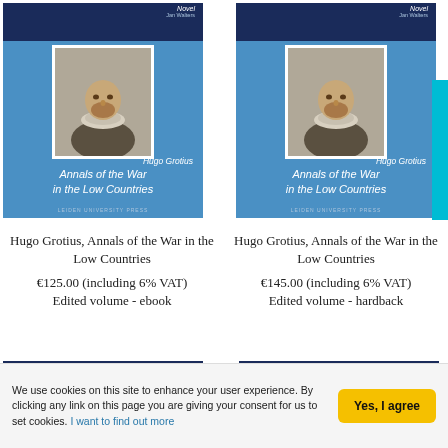[Figure (illustration): Two identical book covers for 'Hugo Grotius, Annals of the War in the Low Countries' by Leiden University Press, showing a portrait of a historical figure in a ruff collar on a blue background]
Hugo Grotius, Annals of the War in the Low Countries
€125.00 (including 6% VAT)
Edited volume - ebook
Hugo Grotius, Annals of the War in the Low Countries
€145.00 (including 6% VAT)
Edited volume - hardback
We use cookies on this site to enhance your user experience. By clicking any link on this page you are giving your consent for us to set cookies. I want to find out more